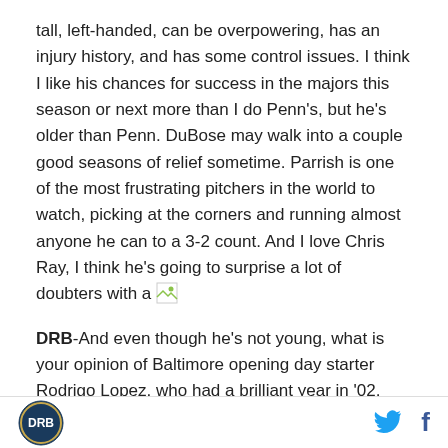tall, left-handed, can be overpowering, has an injury history, and has some control issues. I think I like his chances for success in the majors this season or next more than I do Penn's, but he's older than Penn. DuBose may walk into a couple good seasons of relief sometime. Parrish is one of the most frustrating pitchers in the world to watch, picking at the corners and running almost anyone he can to a 3-2 count. And I love Chris Ray, I think he's going to surprise a lot of doubters with a [image]
DRB-And even though he's not young, what is your opinion of Baltimore opening day starter Rodrigo Lopez, who had a brilliant year in '02, tailed off in '03
[DRB logo] [Twitter icon] [Facebook icon]